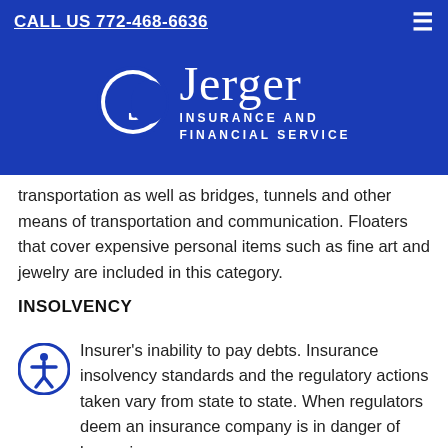CALL US 772-468-6636
[Figure (logo): Jerger Insurance and Financial Service logo — white J icon with crescent on blue background, company name in white]
transportation as well as bridges, tunnels and other means of transportation and communication. Floaters that cover expensive personal items such as fine art and jewelry are included in this category.
INSOLVENCY
Insurer's inability to pay debts. Insurance insolvency standards and the regulatory actions taken vary from state to state. When regulators deem an insurance company is in danger of becoming